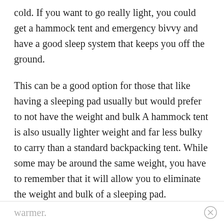cold. If you want to go really light, you could get a hammock tent and emergency bivvy and have a good sleep system that keeps you off the ground.
This can be a good option for those that like having a sleeping pad usually but would prefer to not have the weight and bulk A hammock tent is also usually lighter weight and far less bulky to carry than a standard backpacking tent. While some may be around the same weight, you have to remember that it will allow you to eliminate the weight and bulk of a sleeping pad. Remember that any space or insulation you can put between yourself and the ground will keep you
warmer.